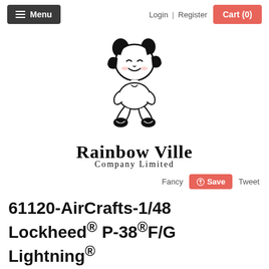Menu   Login | Register   Cart (0)
[Figure (logo): Rainbow Ville Company Limited logo — cartoon baby girl sitting cross-legged, smiling, with dark hair in buns, wearing shoes. Text below reads 'Rainbow Ville' and 'Company Limited'.]
Fancy   Save   Tweet
61120-AirCrafts-1/48 Lockheed® P-38®F/G Lightning®